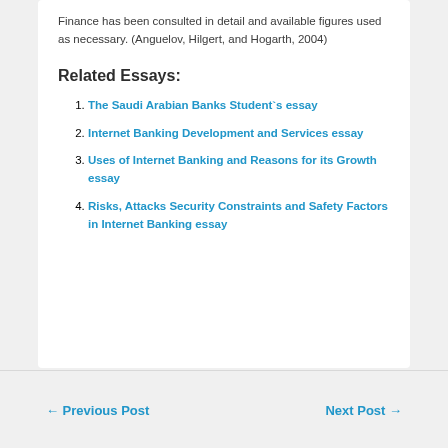Finance has been consulted in detail and available figures used as necessary. (Anguelov, Hilgert, and Hogarth, 2004)
Related Essays:
The Saudi Arabian Banks Student`s essay
Internet Banking Development and Services essay
Uses of Internet Banking and Reasons for its Growth essay
Risks, Attacks Security Constraints and Safety Factors in Internet Banking essay
← Previous Post    Next Post →